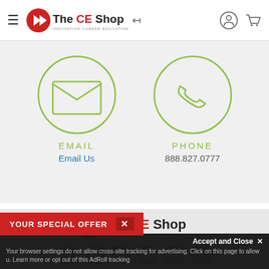The CE Shop — INNOVATING CAREER EDUCATION
[Figure (screenshot): Contact section with email icon in circle and phone icon in circle, on light gray background. EMAIL / Email Us on left, PHONE / 888.827.0777 on right.]
EMAIL
Email Us
PHONE
888.827.0777
[Figure (logo): The CE Shop logo with red play-button icon and text 'The CE Shop INNOVATING CAREER EDUCATION']
[Figure (infographic): Social media icons row: Facebook, Twitter, Instagram, LinkedIn, YouTube, Pinterest]
YOUR SPECIAL OFFER
Accept and Close ✕
Your browser settings do not allow cross-site tracking for advertising. Click on this page to allow u. Learn more or opt out of this AdRoll tracking
Product Overview